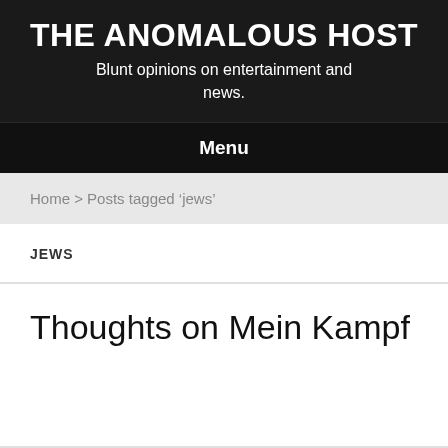THE ANOMALOUS HOST
Blunt opinions on entertainment and news.
Menu
Home > Posts tagged 'jews'
JEWS
Thoughts on Mein Kampf